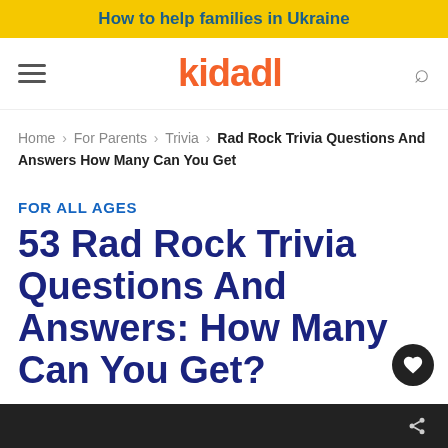How to help families in Ukraine
[Figure (logo): Kidadl logo with hamburger menu and search icon navigation bar]
Home › For Parents › Trivia › Rad Rock Trivia Questions And Answers How Many Can You Get
FOR ALL AGES
53 Rad Rock Trivia Questions And Answers: How Many Can You Get?